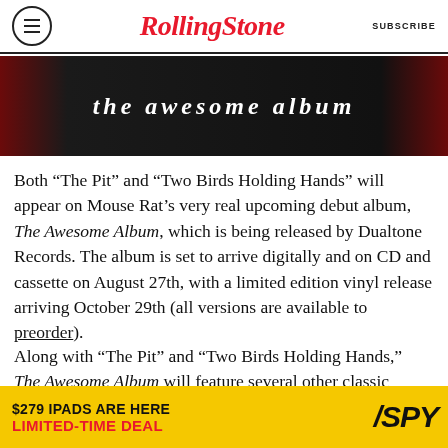RollingStone | SUBSCRIBE
[Figure (photo): Album cover image showing 'the awesome album' text in gothic font on dark background with dark red sides]
Both “The Pit” and “Two Birds Holding Hands” will appear on Mouse Rat’s very real upcoming debut album, The Awesome Album, which is being released by Dualtone Records. The album is set to arrive digitally and on CD and cassette on August 27th, with a limited edition vinyl release arriving October 29th (all versions are available to preorder).
Along with “The Pit” and “Two Birds Holding Hands,” The Awesome Album will feature several other classic Mouse Rat tracks including “F500
[Figure (other): Advertisement banner: $279 IPADS ARE HERE LIMITED-TIME DEAL with SPY logo on yellow background]